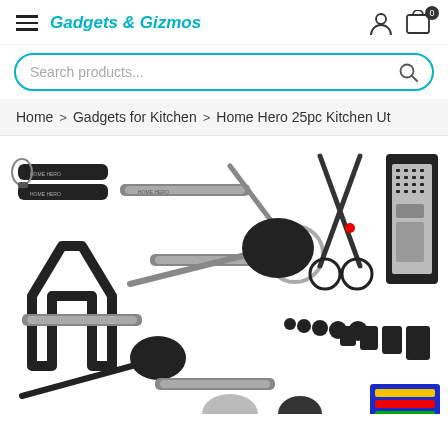Gadgets & Gizmos — navigation header with hamburger menu, brand name, user icon, and cart icon
Search products...
Home > Gadgets for Kitchen > Home Hero 25pc Kitchen Ut
[Figure (photo): Product photo of Home Hero 25-piece kitchen utensil set showing various kitchen tools including can opener, pizza cutter, scissors, grater, ladle, measuring spoons and cups, and other black/stainless steel utensils arranged on white background]